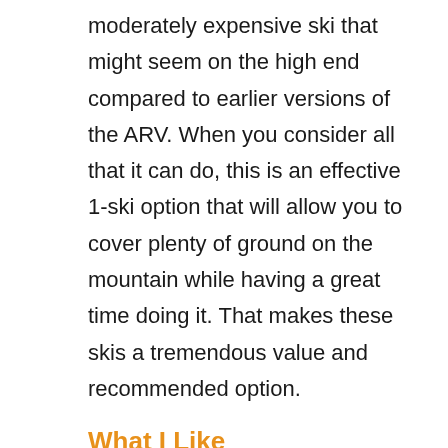moderately expensive ski that might seem on the high end compared to earlier versions of the ARV. When you consider all that it can do, this is an effective 1-ski option that will allow you to cover plenty of ground on the mountain while having a great time doing it. That makes these skis a tremendous value and recommended option.
What I Like
The Armada ARV lineup of skis has been a personal favorite for years. And as this model developed, the wider widths turned a